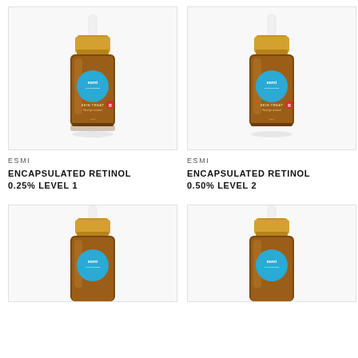[Figure (photo): Esmi Encapsulated Retinol 0.25% Level 1 product bottle - amber glass dropper bottle with gold cap and white dropper, blue circular label]
ESMI
ENCAPSULATED RETINOL 0.25% LEVEL 1
[Figure (photo): Esmi Encapsulated Retinol 0.50% Level 2 product bottle - amber glass dropper bottle with gold cap and white dropper, blue circular label]
ESMI
ENCAPSULATED RETINOL 0.50% LEVEL 2
[Figure (photo): Esmi product bottle - amber glass dropper bottle with gold cap and white dropper, blue circular label, cropped at bottom]
[Figure (photo): Esmi product bottle - amber glass dropper bottle with gold cap and white dropper, blue circular label, cropped at bottom]